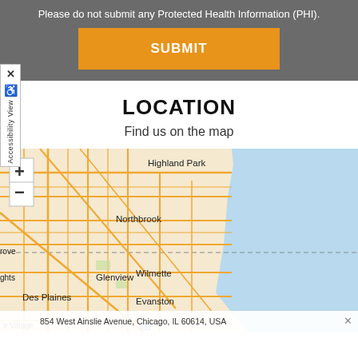Please do not submit any Protected Health Information (PHI).
SUBMIT
LOCATION
Find us on the map
[Figure (map): Interactive map showing northern Chicago suburbs including Highland Park, Northbrook, Glenview, Wilmette, Evanston, Des Plaines, and surrounding areas along Lake Michigan shoreline. Includes zoom in (+) and zoom out (-) controls. A popup at the bottom shows a partial address: 854 West Ainslie Avenue, Chicago, IL 60614, USA.]